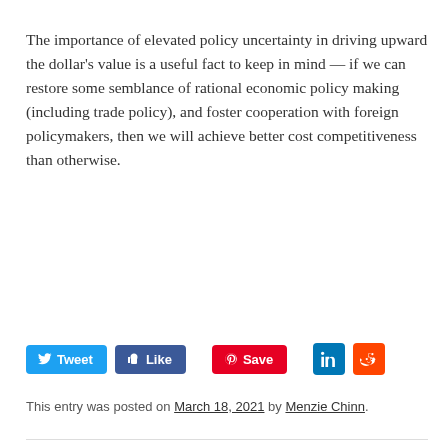The importance of elevated policy uncertainty in driving upward the dollar's value is a useful fact to keep in mind — if we can restore some semblance of rational economic policy making (including trade policy), and foster cooperation with foreign policymakers, then we will achieve better cost competitiveness than otherwise.
[Figure (infographic): Social sharing buttons: Tweet (Twitter, blue), Like (Facebook, dark blue), Save (Pinterest, red), LinkedIn (blue square), Reddit (orange square)]
This entry was posted on March 18, 2021 by Menzie Chinn.